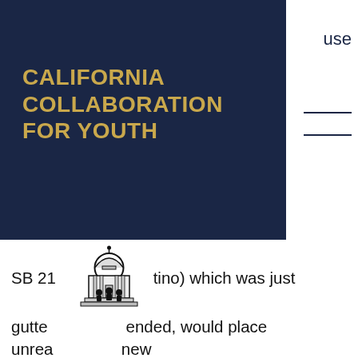CALIFORNIA COLLABORATION FOR YOUTH
SB 21 [tino] which was just gutted [ended, would place unrea[sonable] new requirements and restrictions on camps and would not allow us to serve our campers in the best way possible. In addition to these requirements on camps, the bill would extend licensing requirements and oversight to every youth program that serves five children or more for five days or more in a season. This would mean that nearly every program serving children, from dance lessons to karate classes, from